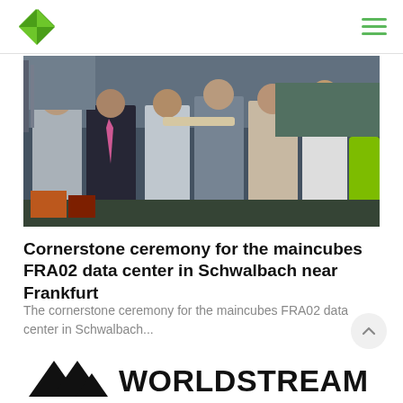maincubes navigation bar with logo and hamburger menu
[Figure (photo): Group of people at an outdoor event, appearing to pass or sign a document, cornerstones ceremony photo]
Cornerstone ceremony for the maincubes FRA02 data center in Schwalbach near Frankfurt
The cornerstone ceremony for the maincubes FRA02 data center in Schwalbach...
[Figure (logo): Worldstream logo with triangle/mountain icon and WORLDSTREAM text in bold black]